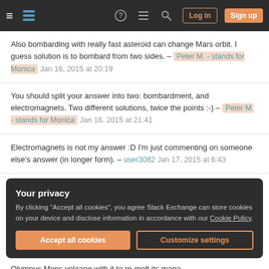Stack Exchange navigation bar with hamburger menu, logo, help, chat, search icons, Log in and Sign up buttons
Also bombarding with really fast asteroid can change Mars orbit. I guess solution is to bombard from two sides. – Peter M. - stands for Monica  Jan 16, 2015 at 20:19
You should split your answer into two: bombardment, and electromagnets. Two different solutions, twice the points :-) – Peter M. - stands for Monica  Jan 16, 2015 at 21:41
Electromagnets is not my answer :D I'm just commenting on someone else's answer (in longer form). – user3082  Jan 17, 2015 at 6:43
Your privacy
By clicking "Accept all cookies", you agree Stack Exchange can store cookies on your device and disclose information in accordance with our Cookie Policy.
Accept all cookies
Customize settings
Olympus Mons volcano with it to re-melt its maga.